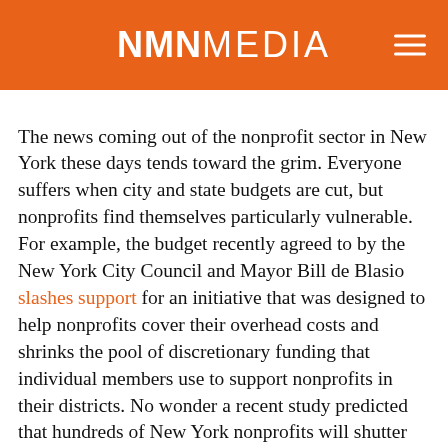NMN MEDIA
The news coming out of the nonprofit sector in New York these days tends toward the grim. Everyone suffers when city and state budgets are cut, but nonprofits find themselves particularly vulnerable. For example, the budget recently agreed to by the New York City Council and Mayor Bill de Blasio slashes support for an initiative that was designed to help nonprofits cover their overhead costs and shrinks the pool of discretionary funding that individual members use to support nonprofits in their districts. No wonder a recent study predicted that hundreds of New York nonprofits will shutter their doors by the time the coronavirus crisis ends.
Fighting on behalf of the nonprofit sector is going to be an uphill battle for many years to come. But that's